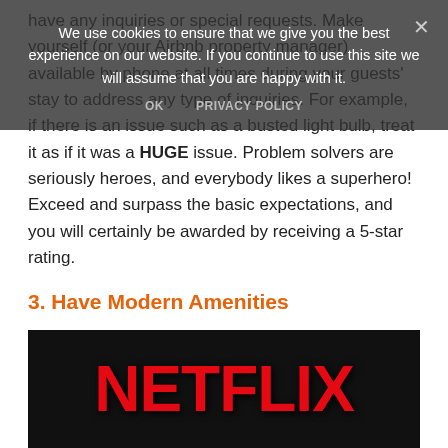[Figure (screenshot): Cookie consent overlay banner with dark semi-transparent background, showing cookie notice text, OK and PRIVACY POLICY buttons, and a close (×) button]
have any inquiries or special requests. Make yourself (or your Airbnb property manager) available by phone at all times during your guests' stay to address any type of inquiries. For example, if there is an issue such as a busted light bulb, treat it as if it was a HUGE issue. Problem solvers are seriously heroes, and everybody likes a superhero! Exceed and surpass the basic expectations, and you will certainly be awarded by receiving a 5-star rating.
3. Have Modern Amenities
[Figure (photo): Netflix logo in large red bold letters on a dark/black background]